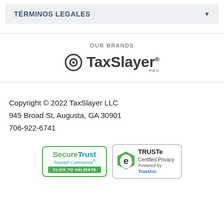TÉRMINOS LEGALES
OUR BRANDS
[Figure (logo): TaxSlayer PRO logo with circular target icon]
Copyright © 2022 TaxSlayer LLC
945 Broad St, Augusta, GA 30901
706-922-6741
[Figure (logo): SecureTrust Trusted Commerce CLICK TO VALIDATE badge]
[Figure (logo): TRUSTe Certified Privacy Powered by TrustArc badge]